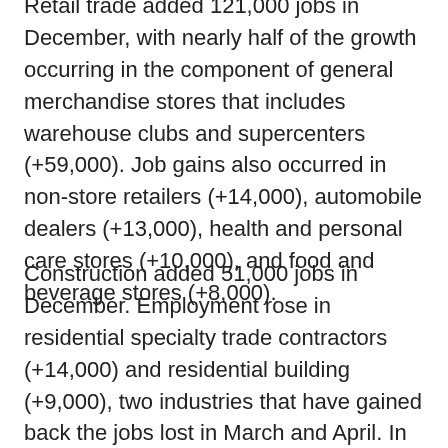Retail trade added 121,000 jobs in December, with nearly half of the growth occurring in the component of general merchandise stores that includes warehouse clubs and supercenters (+59,000). Job gains also occurred in non-store retailers (+14,000), automobile dealers (+13,000), health and personal care stores (+10,000), and food and beverage stores (+8,000).
Construction added 51,000 jobs in December. Employment rose in residential specialty trade contractors (+14,000) and residential building (+9,000), two industries that have gained back the jobs lost in March and April. In December, employment also increased in nonresidential specialty trade contractors (+18,000) and in heavy